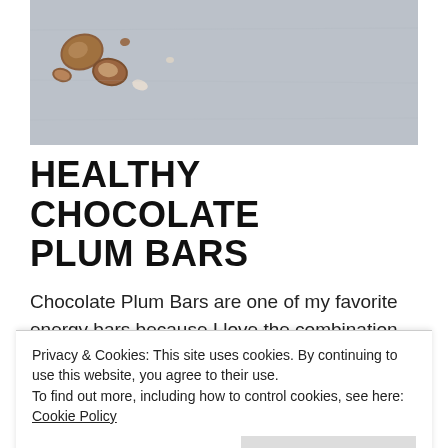[Figure (photo): Close-up photo of hazelnuts on a light grey textured surface, with a few cracked open nuts visible.]
HEALTHY CHOCOLATE PLUM BARS
Chocolate Plum Bars are one of my favorite energy bars because I love the combination of plums and
Privacy & Cookies: This site uses cookies. By continuing to use this website, you agree to their use.
To find out more, including how to control cookies, see here: Cookie Policy
sweet chocolate, loaded with crunchy hazelnuts and